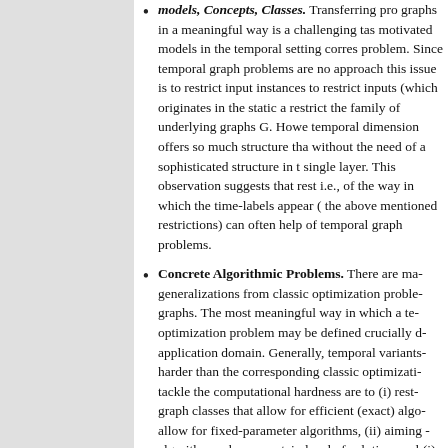Models, Concepts, Classes. Transferring problems on temporal graphs in a meaningful way is a challenging task. Most naturally motivated models in the temporal setting correspond to a hard problem. Since temporal graph problems are notoriously hard, one approach this issue is to restrict input instances. The main way to restrict inputs (which originates in the static algorithm setting) is to restrict the family of underlying graphs G. However, the extra temporal dimension offers so much structure that tractability can arise without the need of a sophisticated structure in the graph G on a single layer. This observation suggests that restricting the labeling, i.e., of the way in which the time-labels appear (as a complement to the above mentioned restrictions) can often help in the tractability of temporal graph problems.
Concrete Algorithmic Problems. There are many natural generalizations from classic optimization problems on temporal graphs. The most meaningful way in which a temporal optimization problem may be defined crucially depends on the application domain. Generally, temporal variants tend to be much harder than the corresponding classic optimization problems. Ways to tackle the computational hardness are to (i) restrict the temporal graph classes that allow for efficient (exact) algorithms, (ii) aiming to allow for fixed-parameter algorithms, (ii) aiming for approximation algorithms where a certain level of solution quality is guaranteed, (i) and (ii).
Distributed Aspects. A common approach to a the distributed ...